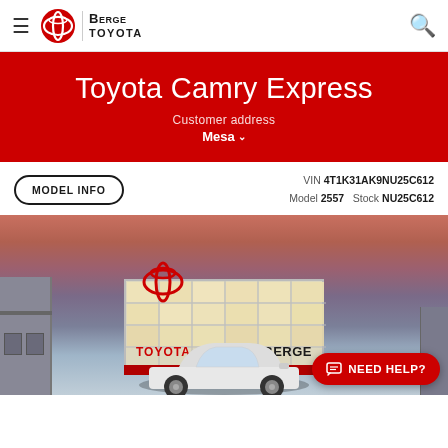Berge Toyota — Navigation bar with hamburger menu, Toyota/Berge logo, and search icon
Toyota Camry Express
Customer address
Mesa
VIN 4T1K31AK9NU25C612  Model 2557  Stock NU25C612
[Figure (photo): Berge Toyota dealership exterior at dusk with white Toyota Camry in foreground, Toyota and Berge signage visible on building facade]
NEED HELP?